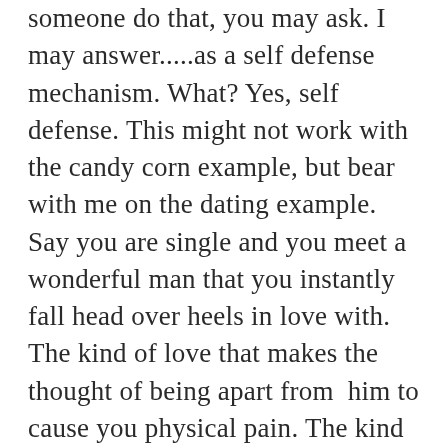someone do that, you may ask. I may answer.....as a self defense mechanism. What? Yes, self defense. This might not work with the candy corn example, but bear with me on the dating example. Say you are single and you meet a wonderful man that you instantly fall head over heels in love with. The kind of love that makes the thought of being apart from  him to cause you physical pain. The kind of love that is so intense and so ‘right’ that you know from pretty early on this person is the one for you. No fears, no doubts, no wandering eyes. It all clicks.  You get married, have a quiver of children, and life is grand.